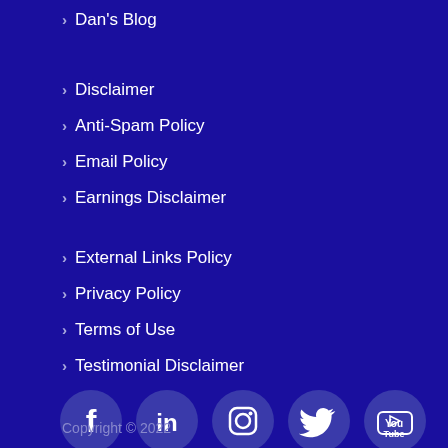Dan's Blog
Disclaimer
Anti-Spam Policy
Email Policy
Earnings Disclaimer
External Links Policy
Privacy Policy
Terms of Use
Testimonial Disclaimer
[Figure (illustration): Row of 5 social media icons: Facebook, LinkedIn, Instagram, Twitter, YouTube — white icons on dark blue circular backgrounds]
Copyright © 2022